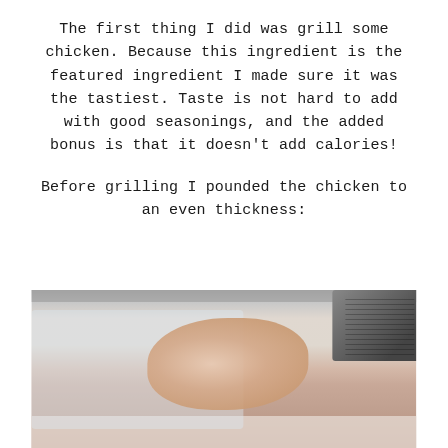The first thing I did was grill some chicken. Because this ingredient is the featured ingredient I made sure it was the tastiest. Taste is not hard to add with good seasonings, and the added bonus is that it doesn't add calories!
Before grilling I pounded the chicken to an even thickness:
[Figure (photo): Photo of a raw chicken breast being pounded to an even thickness on a cutting board, covered with plastic wrap. A meat tenderizer/mallet is visible on the right side of the image.]